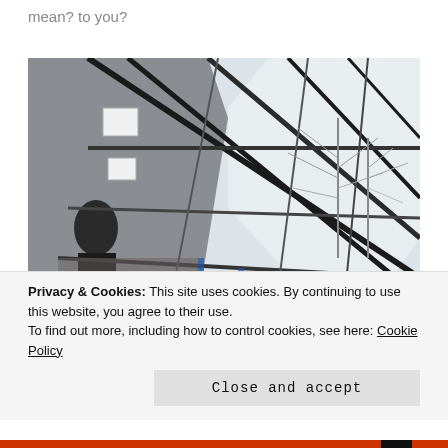mean? to you?
[Figure (photo): Interior photo of a building with large glass facade panels at an angle, bare winter trees visible outside, a person in a dark uniform visible on the left side, and industrial/construction elements in the lower left.]
Privacy & Cookies: This site uses cookies. By continuing to use this website, you agree to their use.
To find out more, including how to control cookies, see here: Cookie Policy
Close and accept